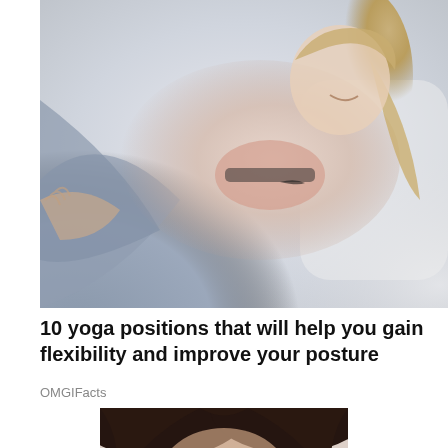[Figure (photo): Woman in pink sports bra and grey leggings performing a yoga/plank position, photographed from above at an angle, against a light grey background with a white sofa visible.]
10 yoga positions that will help you gain flexibility and improve your posture
OMGIFacts
[Figure (photo): Close-up photo of a woman with long dark brown hair looking up with wide surprised eyes. A small red dot (bindi) is visible on her forehead.]